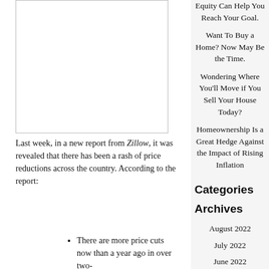[Figure (photo): Image placeholder with border]
Last week, in a new report from Zillow, it was revealed that there has been a rash of price reductions across the country. According to the report:
There are more price cuts now than a year ago in over two-
Equity Can Help You Reach Your Goal.
Want To Buy a Home? Now May Be the Time.
Wondering Where You'll Move if You Sell Your House Today?
Homeownership Is a Great Hedge Against the Impact of Rising Inflation
Categories
Archives
August 2022
July 2022
June 2022
May 2022